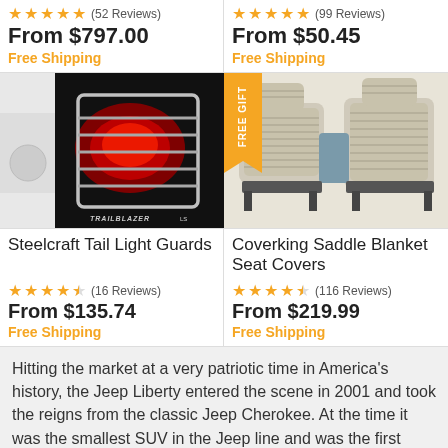★★★★★ (52 Reviews)
From $797.00
Free Shipping
★★★★★ (99 Reviews)
From $50.45
Free Shipping
[Figure (photo): Steelcraft tail light guards on a white Trailblazer LS vehicle, showing chrome guards over red tail lights]
[Figure (photo): Coverking saddle blanket seat covers on two front seats with beige/grey pattern]
Steelcraft Tail Light Guards
Coverking Saddle Blanket Seat Covers
★★★★½ (16 Reviews)
From $135.74
Free Shipping
★★★★½ (116 Reviews)
From $219.99
Free Shipping
Hitting the market at a very patriotic time in America's history, the Jeep Liberty entered the scene in 2001 and took the reigns from the classic Jeep Cherokee. At the time it was the smallest SUV in the Jeep line and was the first Jeep vehicle to feature rack and pinion steering as